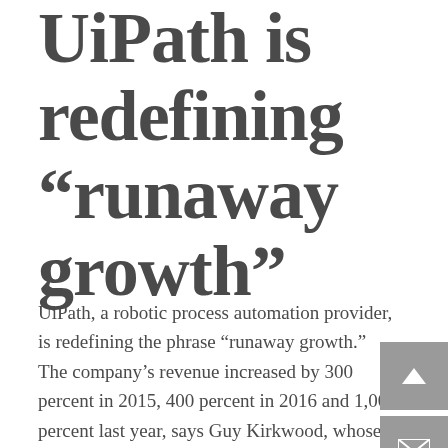UiPath is redefining “runaway growth”
UiPath, a robotic process automation provider, is redefining the phrase “runaway growth.” The company’s revenue increased by 300 percent in 2015, 400 percent in 2016 and 1,000 percent last year, says Guy Kirkwood, whose job title at the company has changed from chief operating officer to chief evangelist.